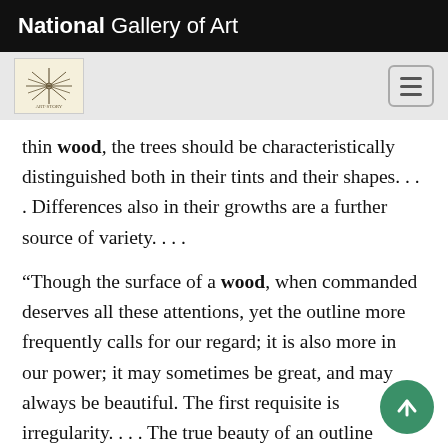National Gallery of Art
thin wood, the trees should be characteristically distinguished both in their tints and their shapes. . . . Differences also in their growths are a further source of variety. . . .
“Though the surface of a wood, when commanded deserves all these attentions, yet the outline more frequently calls for our regard; it is also more in our power; it may sometimes be great, and may always be beautiful. The first requisite is irregularity. . . . The true beauty of an outline consists more in breaks than in sweeps; rathe angles than in rounds; in variety, not in succession.